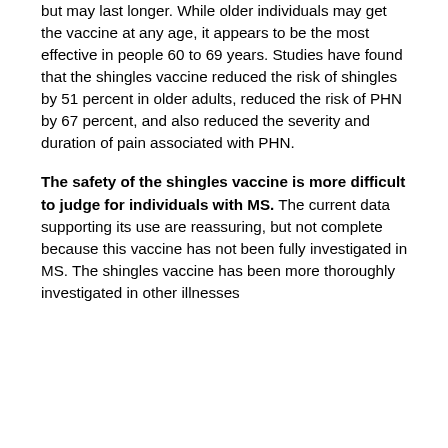but may last longer. While older individuals may get the vaccine at any age, it appears to be the most effective in people 60 to 69 years. Studies have found that the shingles vaccine reduced the risk of shingles by 51 percent in older adults, reduced the risk of PHN by 67 percent, and also reduced the severity and duration of pain associated with PHN.
The safety of the shingles vaccine is more difficult to judge for individuals with MS. The current data supporting its use are reassuring, but not complete because this vaccine has not been fully investigated in MS. The shingles vaccine has been more thoroughly investigated in other illnesses...